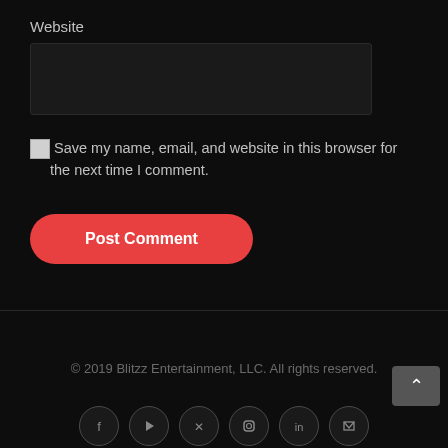Website
[Figure (screenshot): Dark input text box for website URL]
Save my name, email, and website in this browser for the next time I comment.
[Figure (screenshot): Post Comment button (red, rounded)]
© 2019 Blitzz Entertainment, LLC. All rights reserved.
[Figure (screenshot): Row of social media icons at the bottom of the page]